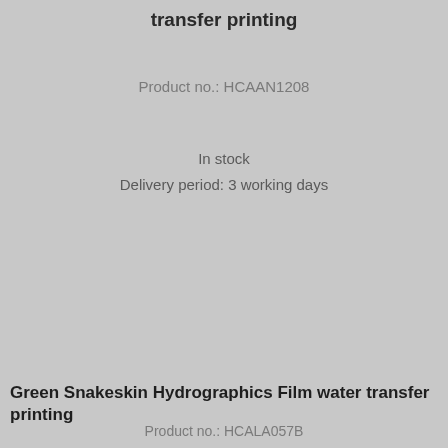transfer printing
Product no.: HCAAN1208
In stock
Delivery period: 3 working days
Green Snakeskin Hydrographics Film water transfer printing
Product no.: HCALA057B